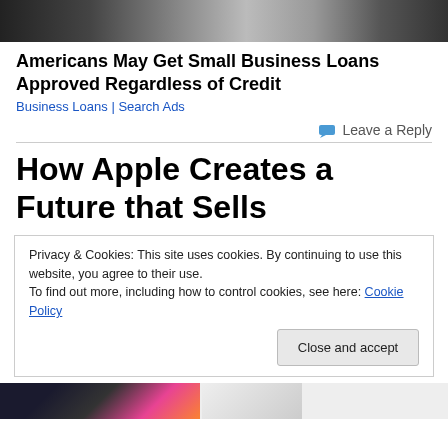[Figure (photo): Header image showing stacks of US dollar bills, dark background]
Americans May Get Small Business Loans Approved Regardless of Credit
Business Loans | Search Ads
Leave a Reply
How Apple Creates a Future that Sells
Privacy & Cookies: This site uses cookies. By continuing to use this website, you agree to their use.
To find out more, including how to control cookies, see here: Cookie Policy
Close and accept
[Figure (photo): Bottom partial images showing colorful icons and a grey area]